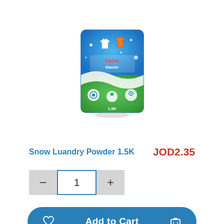[Figure (photo): Snow laundry powder 1.5K product bag — blue and green packaging with clothing graphics]
Snow Luandry Powder 1.5K
JOD2.35
1
Add to Cart